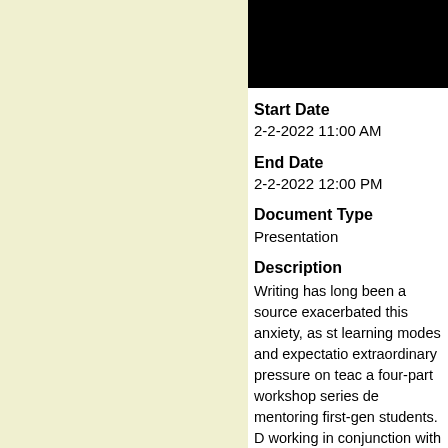[Figure (photo): Black rectangular image/header at the top of the right panel]
Start Date
2-2-2022 11:00 AM
End Date
2-2-2022 12:00 PM
Document Type
Presentation
Description
Writing has long been a source exacerbated this anxiety, as st learning modes and expectatio extraordinary pressure on teac a four-part workshop series de mentoring first-gen students. D working in conjunction with Bo hope to pilot this workshop ser university's existing tutorial res of writing that students are exp beyond it, from "Using Writing Your Writing Teacher Never To voices articulating their writing called hidden curriculum of wri have worked closely with first-